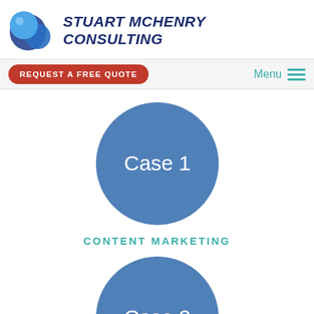[Figure (logo): Stuart McHenry Consulting logo with blue bubble spheres and bold dark blue italic text reading STUART MCHENRY CONSULTING]
Stuart McHenry Consulting
REQUEST A FREE QUOTE
Menu
[Figure (illustration): Blue circle button labeled Case 1]
CONTENT MARKETING
[Figure (illustration): Blue circle button labeled Case 2]